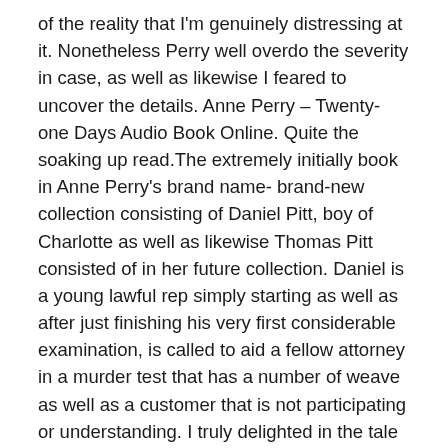of the reality that I'm genuinely distressing at it. Nonetheless Perry well overdo the severity in case, as well as likewise I feared to uncover the details. Anne Perry – Twenty- one Days Audio Book Online. Quite the soaking up read.The extremely initially book in Anne Perry's brand name- brand-new collection consisting of Daniel Pitt, boy of Charlotte as well as likewise Thomas Pitt consisted of in her future collection. Daniel is a young lawful rep simply starting as well as after just finishing his very first considerable examination, is called to aid a fellow attorney in a murder test that has a number of weave as well as a customer that is not participating or understanding. I truly delighted in the tale as well as the age in London as well as the personalities. If you like lawful thrillers as well as historic enigmas, I extremely suggest thisbook I never ever buy the extremely initial magazine in a brand-new collection